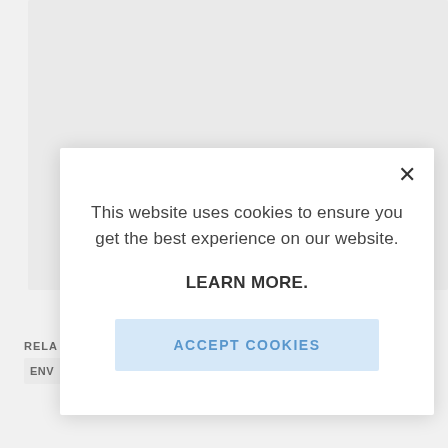[Figure (screenshot): Background webpage content showing a gray card area and partial 'RELA' label and 'ENV' tag at bottom left, with a right-facing arrow stub at bottom right.]
This website uses cookies to ensure you get the best experience on our website.
LEARN MORE.
ACCEPT COOKIES